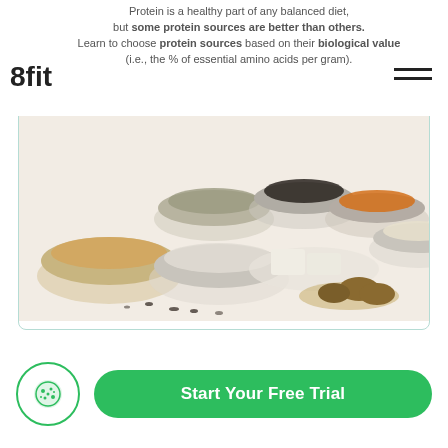Protein is a healthy part of any balanced diet, but some protein sources are better than others. Learn to choose protein sources based on their biological value (i.e., the % of essential amino acids per gram).
[Figure (photo): Overhead photo of various bowls containing different plant-based protein sources: grains, seeds, legumes, nuts, and tofu on a white background.]
PROTEIN SOURCE    BIOLOGICAL VALUE
[Figure (infographic): Infographic row showing Whole egg protein source with a circular icon of eggs and a donut chart showing 94% biological value with an upward arrow.]
Start Your Free Trial